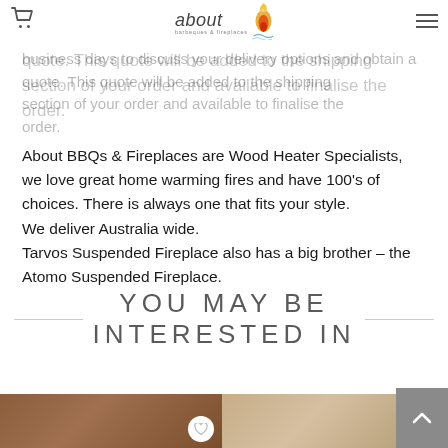About BBQs & Fireplaces — navigation bar with cart icon, logo, and hamburger menu
business days to discuss your delivery options and obtain a quote. This quote will be added to the shipping section of your order and available to finalise the order.
About BBQs & Fireplaces are Wood Heater Specialists, we love great home warming fires and have 100's of choices. There is always one that fits your style.
We deliver Australia wide.
Tarvos Suspended Fireplace also has a big brother – the Atomo Suspended Fireplace.
YOU MAY BE INTERESTED IN
[Figure (photo): Two product images at bottom of page — left: wood/brown product; right: light-colored product. Both with heart/wishlist buttons.]